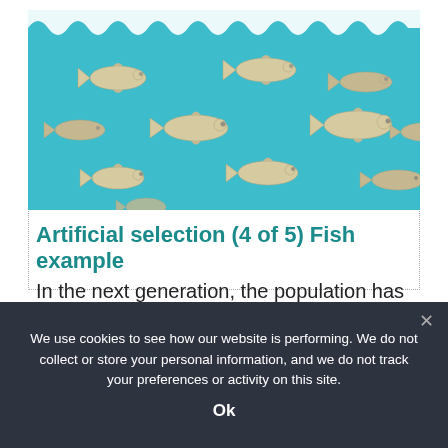[Figure (illustration): Illustration of multiple fish swimming in teal/blue water with white wave shapes at the top. Fish are beige/tan colored with simple cartoon style, arranged in groups across the image.]
Artificial selection (4 of 5) Fish example
In the next generation, the population has
We use cookies to see how our website is performing. We do not collect or store your personal information, and we do not track your preferences or activity on this site.
Ok